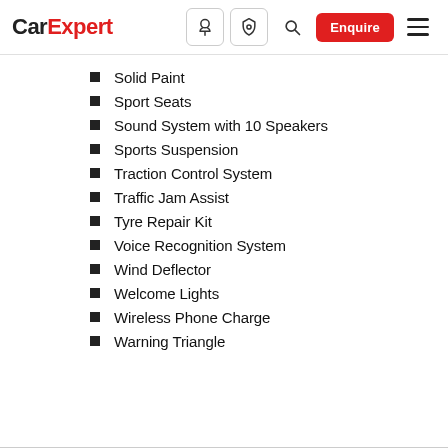CarExpert — navigation header with logo, icons, Enquire button, and hamburger menu
Solid Paint
Sport Seats
Sound System with 10 Speakers
Sports Suspension
Traction Control System
Traffic Jam Assist
Tyre Repair Kit
Voice Recognition System
Wind Deflector
Welcome Lights
Wireless Phone Charge
Warning Triangle